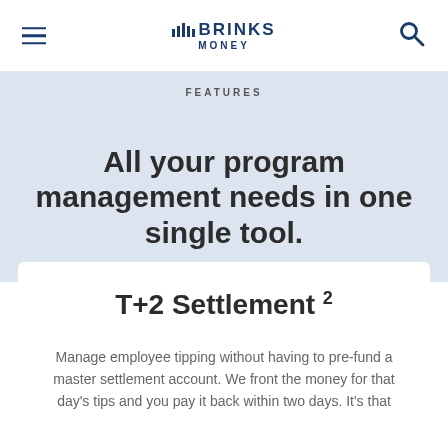BRINKS MONEY
FEATURES
All your program management needs in one single tool.
T+2 Settlement ²
Manage employee tipping without having to pre-fund a master settlement account. We front the money for that day's tips and you pay it back within two days. It's that